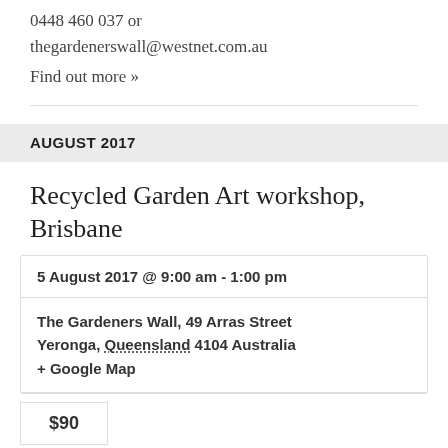0448 460 037 or thegardenerswall@westnet.com.au
Find out more »
AUGUST 2017
Recycled Garden Art workshop, Brisbane
5 August 2017 @ 9:00 am - 1:00 pm
The Gardeners Wall, 49 Arras Street Yeronga, Queensland 4104 Australia + Google Map
$90